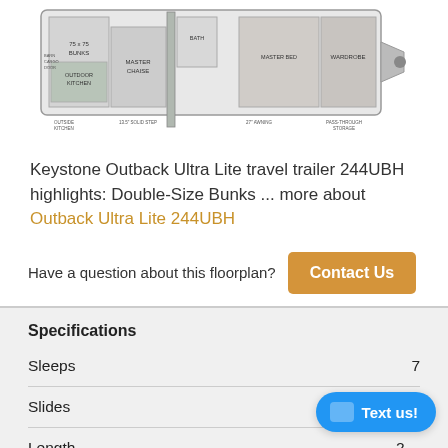[Figure (engineering-diagram): Keystone Outback Ultra Lite 244UBH travel trailer floorplan diagram showing layout with bunk beds, outdoor kitchen, wardrobe, master suite, and various labeled compartments.]
Keystone Outback Ultra Lite travel trailer 244UBH highlights: Double-Size Bunks ... more about Outback Ultra Lite 244UBH
Have a question about this floorplan?
Specifications
| Spec | Value |
| --- | --- |
| Sleeps | 7 |
| Slides | 1 |
| Length | 2... |
| Ext Width | 8 ft |